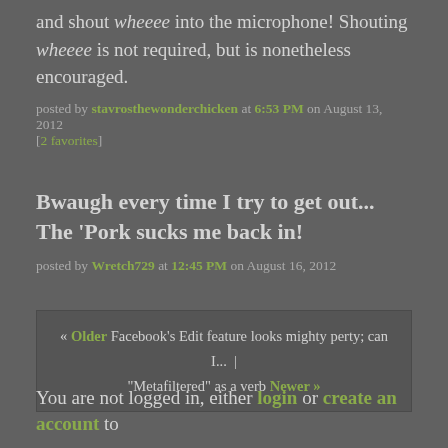and shout wheeee into the microphone! Shouting wheeee is not required, but is nonetheless encouraged.
posted by stavrosthewonderchicken at 6:53 PM on August 13, 2012 [2 favorites]
Bwaugh every time I try to get out... The 'Pork sucks me back in!
posted by Wretch729 at 12:45 PM on August 16, 2012
« Older Facebook's Edit feature looks mighty perty; can I... | "Metafiltered" as a verb Newer »
You are not logged in, either login or create an account to